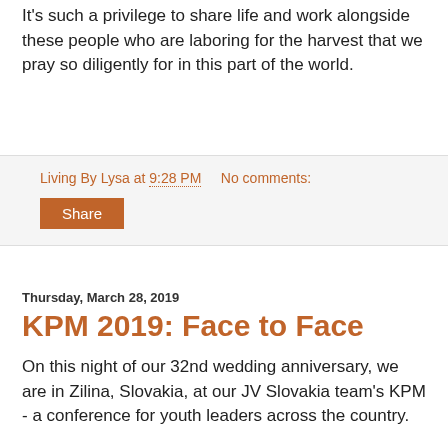It's such a privilege to share life and work alongside these people who are laboring for the harvest that we pray so diligently for in this part of the world.
Living By Lysa at 9:28 PM   No comments:
Share
Thursday, March 28, 2019
KPM 2019: Face to Face
On this night of our 32nd wedding anniversary, we are in Zilina, Slovakia, at our JV Slovakia team's KPM - a conference for youth leaders across the country.
[Figure (photo): A couple taking a selfie photo indoors, man on left with short dark hair, woman on right wearing glasses with brown hair, warm indoor lighting in background.]